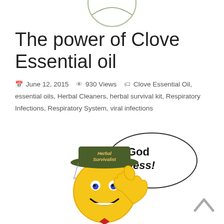[Figure (logo): Partial logo image at top of page, cropped]
The power of Clove Essential oil
June 12, 2015   930 Views   Clove Essential Oil, essential oils, Herbal Cleaners, herbal survival kit, Respiratory Infections, Respiratory System, viral infections
[Figure (illustration): Cartoon smiley face emoji wearing a green 'Herbal Survivalist' hat with a thumbs up gesture and a speech bubble saying 'God Bless!']